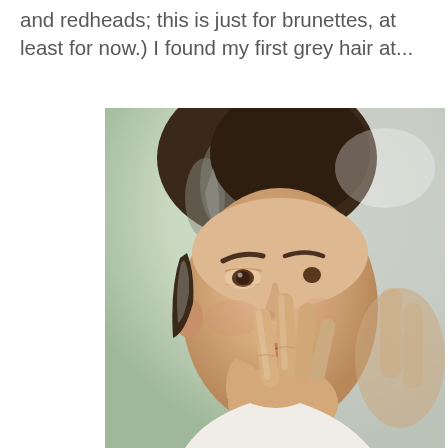and redheads; this is just for brunettes, at least for now.) I found my first grey hair at...
[Figure (photo): A middle-aged brunette woman with grey streaks in her dark upswept hair, examining her face closely in a mirror, touching her cheek/eye area with her fingers. She is wearing a light-colored top. The background is blurred and light-toned.]